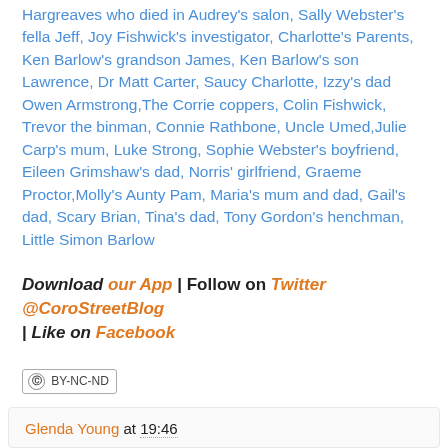Hargreaves who died in Audrey's salon, Sally Webster's fella Jeff, Joy Fishwick's investigator, Charlotte's Parents, Ken Barlow's grandson James, Ken Barlow's son Lawrence, Dr Matt Carter, Saucy Charlotte, Izzy's dad Owen Armstrong,The Corrie coppers, Colin Fishwick, Trevor the binman, Connie Rathbone, Uncle Umed,Julie Carp's mum, Luke Strong, Sophie Webster's boyfriend, Eileen Grimshaw's dad, Norris' girlfriend, Graeme Proctor,Molly's Aunty Pam, Maria's mum and dad, Gail's dad, Scary Brian, Tina's dad, Tony Gordon's henchman, Little Simon Barlow
Download our App | Follow on Twitter @CoroStreetBlog | Like on Facebook
[Figure (logo): Creative Commons BY-NC-ND license badge]
All original work on the Coronation Street Blog is covered by a Creative Commons License
Glenda Young at 19:46